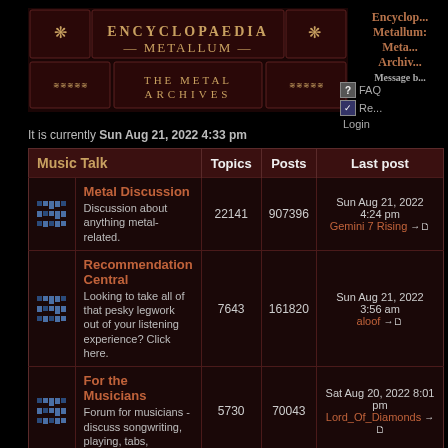[Figure (logo): Encyclopaedia Metallum - The Metal Archives logo banner with dark red ornate design]
Encyclopaedia Metallum: The Metal Archives - Message board
FAQ  Register  Login
It is currently Sun Aug 21, 2022 4:33 pm
| Music Talk | Topics | Posts | Last post |
| --- | --- | --- | --- |
| Metal Discussion
Discussion about anything metal-related. | 22141 | 907396 | Sun Aug 21, 2022 4:24 pm
Gemini 7 Rising |
| Recommendation Central
Looking to take all of that pesky legwork out of your listening experience? Click here. | 7643 | 161820 | Sun Aug 21, 2022 3:56 am
aloof |
| For the Musicians
Forum for musicians - discuss songwriting, playing, tabs, | 5730 | 70043 | Sat Aug 20, 2022 8:01 pm
Lord_Of_Diamonds |